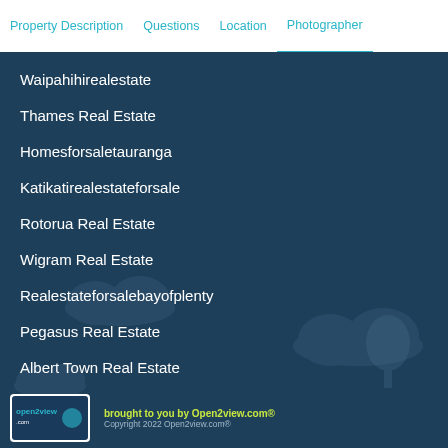Property Description | Questions | Location | Photographer
Waipahihirealestate
Thames Real Estate
Homesforsaletauranga
Katikatirealestateforsale
Rotorua Real Estate
Wigram Real Estate
Realestateforsalebayofplenty
Pegasus Real Estate
Albert Town Real Estate
brought to you by Open2view.com® Copyright 2022 Open2view.com®